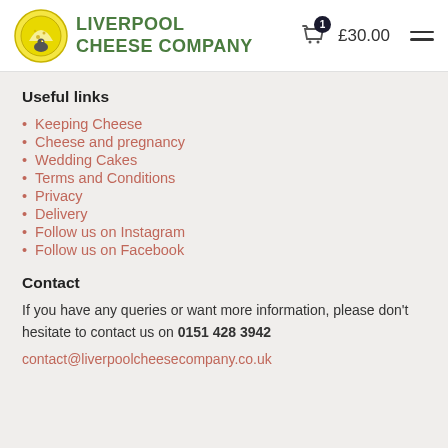Liverpool Cheese Company — £30.00
Useful links
Keeping Cheese
Cheese and pregnancy
Wedding Cakes
Terms and Conditions
Privacy
Delivery
Follow us on Instagram
Follow us on Facebook
Contact
If you have any queries or want more information, please don't hesitate to contact us on 0151 428 3942
contact@liverpoolcheesecompany.co.uk